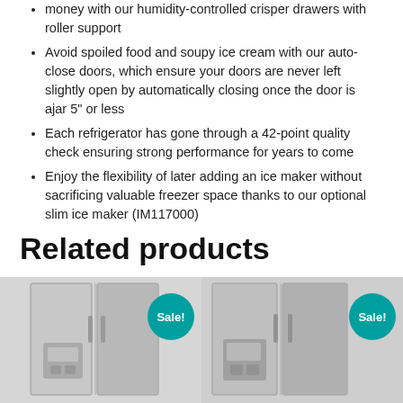money with our humidity-controlled crisper drawers with roller support
Avoid spoiled food and soupy ice cream with our auto-close doors, which ensure your doors are never left slightly open by automatically closing once the door is ajar 5" or less
Each refrigerator has gone through a 42-point quality check ensuring strong performance for years to come
Enjoy the flexibility of later adding an ice maker without sacrificing valuable freezer space thanks to our optional slim ice maker (IM117000)
Related products
[Figure (photo): Stainless steel side-by-side refrigerator with water and ice dispenser, with a teal Sale! badge]
[Figure (photo): Stainless steel side-by-side refrigerator with water and ice dispenser, with a teal Sale! badge]